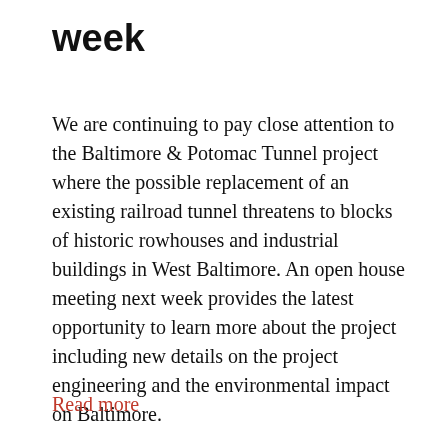week
We are continuing to pay close attention to the Baltimore & Potomac Tunnel project where the possible replacement of an existing railroad tunnel threatens to blocks of historic rowhouses and industrial buildings in West Baltimore. An open house meeting next week provides the latest opportunity to learn more about the project including new details on the project engineering and the environmental impact on Baltimore.
Read more